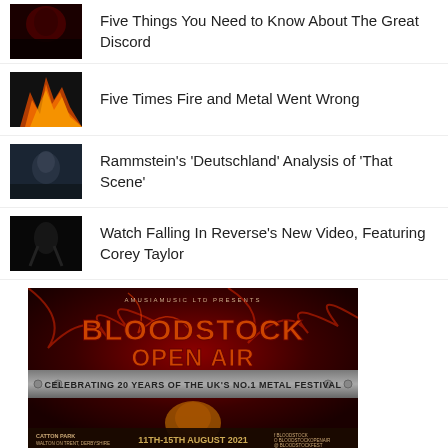Five Things You Need to Know About The Great Discord
Five Times Fire and Metal Went Wrong
Rammstein's 'Deutschland' Analysis of 'That Scene'
Watch Falling In Reverse's New Video, Featuring Corey Taylor
[Figure (photo): Bloodstock Open Air advertisement banner. Text reads: AMUSIA MUSIC LTD PRESENTS / BLOODSTOCK OPEN AIR / CELEBRATING 20 YEARS OF THE UK'S NO.1 METAL FESTIVAL / CATTON PARK, WALTON ON TRENT, DERBYSHIRE / 11TH-15TH AUGUST 2021 / Social media handles: BLOODSTOCK, BLOODSTOCKOPENAIR, BLOODSTOCKFEST]